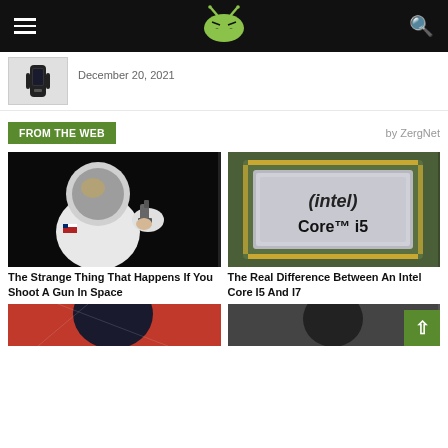Android Authority navigation bar with logo
December 20, 2021
FROM THE WEB
by ZergNet
[Figure (photo): Astronaut in space suit holding a gun against black background]
The Strange Thing That Happens If You Shoot A Gun In Space
[Figure (photo): Intel Core i5 processor chip close-up]
The Real Difference Between An Intel Core I5 And I7
[Figure (photo): Partial image bottom left - appears to be Spider-Man costume]
[Figure (photo): Partial image bottom right - appears to be a person in dark costume]